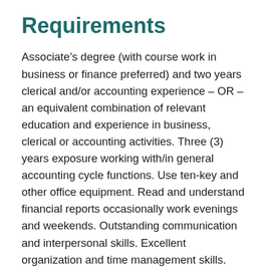Requirements
Associate’s degree (with course work in business or finance preferred) and two years clerical and/or accounting experience – OR – an equivalent combination of relevant education and experience in business, clerical or accounting activities. Three (3) years exposure working with/in general accounting cycle functions. Use ten-key and other office equipment. Read and understand financial reports occasionally work evenings and weekends. Outstanding communication and interpersonal skills. Excellent organization and time management skills. Multi-tasking aptitude. Proactive problem solver. Proficient Microsoft Excel experience. The following is a list of some of the core knowledge, skills and